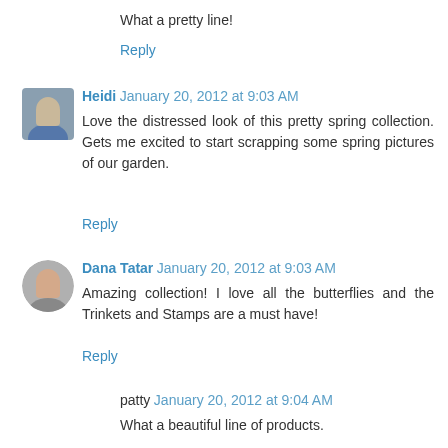What a pretty line!
Reply
Heidi  January 20, 2012 at 9:03 AM
Love the distressed look of this pretty spring collection. Gets me excited to start scrapping some spring pictures of our garden.
Reply
Dana Tatar  January 20, 2012 at 9:03 AM
Amazing collection! I love all the butterflies and the Trinkets and Stamps are a must have!
Reply
patty  January 20, 2012 at 9:04 AM
What a beautiful line of products.